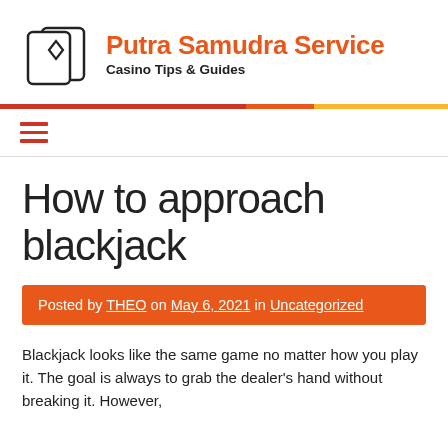Putra Samudra Service — Casino Tips & Guides
How to approach blackjack
Posted by THEO on May 6, 2021 in Uncategorized
Blackjack looks like the same game no matter how you play it. The goal is always to grab the dealer's hand without breaking it. However,